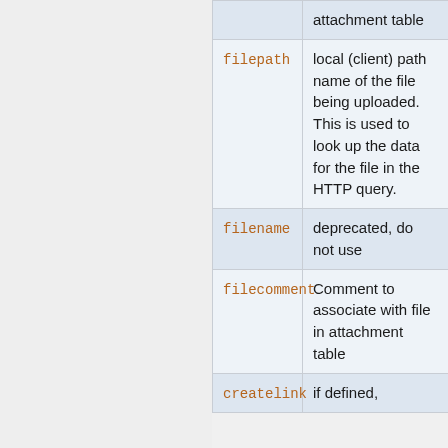| Parameter | Description |
| --- | --- |
|  | attachment table |
| filepath | local (client) path name of the file being uploaded. This is used to look up the data for the file in the HTTP query. |
| filename | deprecated, do not use |
| filecomment | Comment to associate with file in attachment table |
| createlink | if defined, |